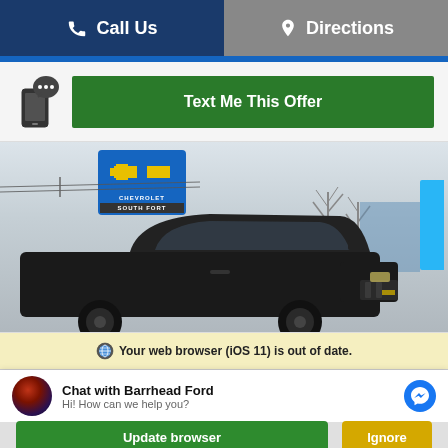Call Us   Directions
Text Me This Offer
[Figure (photo): Chevrolet South Fort dealership sign with a dark pickup truck in the foreground, winter trees and blue banner in the background]
Your web browser (iOS 11) is out of date.
Chat with Barrhead Ford
Hi! How can we help you?
Update browser   Ignore